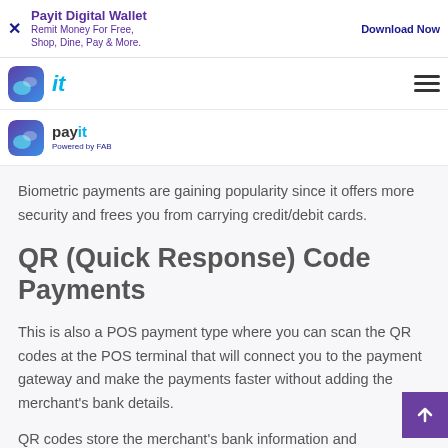Payit Digital Wallet — Remit Money For Free, Shop, Dine, Pay & More. | Download Now
[Figure (logo): Payit digital wallet app logo and navigation bar with 'it' text and hamburger menu]
[Figure (logo): Payit logo — payit Powered by FAB]
Biometric payments are gaining popularity since it offers more security and frees you from carrying credit/debit cards.
QR (Quick Response) Code Payments
This is also a POS payment type where you can scan the QR codes at the POS terminal that will connect you to the payment gateway and make the payments faster without adding the merchant's bank details.
QR codes store the merchant's bank information and